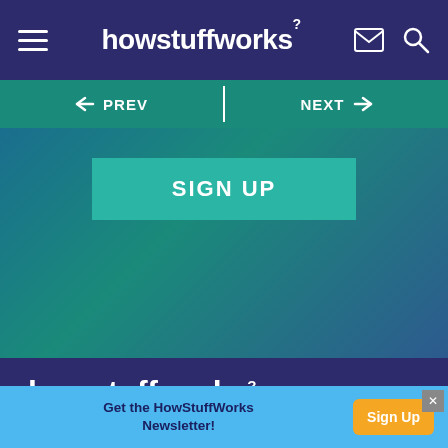howstuffworks?
[Figure (screenshot): Navigation bar with hamburger menu, HowStuffWorks logo, email and search icons on dark blue background]
← PREV | NEXT →
SIGN UP
[Figure (logo): howstuffworks? logo in white on dark navy background]
Learn How Everything Works!
[Figure (infographic): Social media icons: Facebook, YouTube, Instagram, Twitter]
Get the HowStuffWorks Newsletter! Sign Up